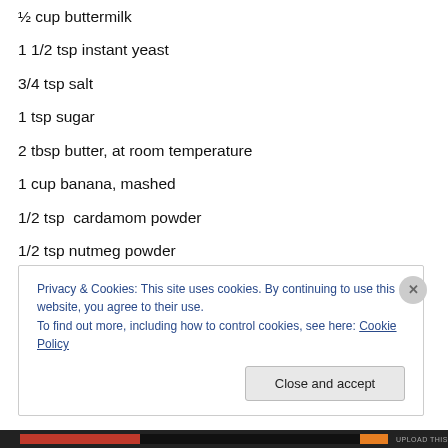½ cup buttermilk
1 1/2 tsp instant yeast
3/4 tsp salt
1 tsp sugar
2 tbsp butter, at room temperature
1 cup banana, mashed
1/2 tsp  cardamom powder
1/2 tsp nutmeg powder
Melted butter for brushing on rolls once they’re out of the oven
Whisk together the banana, water, buttermilk, yeast, salt,
Privacy & Cookies: This site uses cookies. By continuing to use this website, you agree to their use.
To find out more, including how to control cookies, see here: Cookie Policy
Close and accept